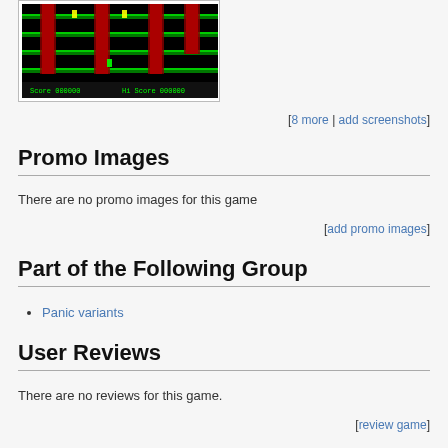[Figure (screenshot): A retro-style platform video game screenshot with green and red platforms on a black background, showing character sprites and a score display at the bottom.]
[8 more | add screenshots]
Promo Images
There are no promo images for this game
[add promo images]
Part of the Following Group
Panic variants
User Reviews
There are no reviews for this game.
[review game]